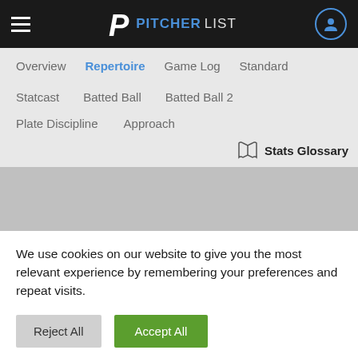PITCHERLIST
Overview
Repertoire
Game Log
Standard
Statcast
Batted Ball
Batted Ball 2
Plate Discipline
Approach
Stats Glossary
We use cookies on our website to give you the most relevant experience by remembering your preferences and repeat visits.
Reject All
Accept All